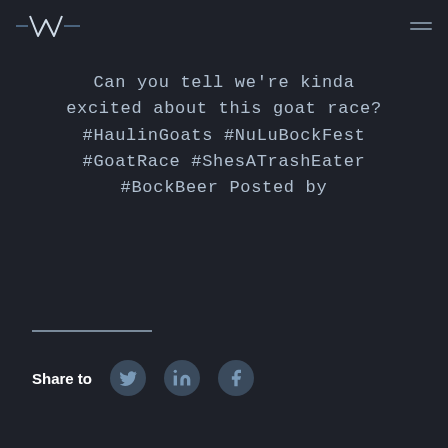[Figure (logo): Stylized W logo with zigzag/waveform lines in white/light color on dark background]
Can you tell we're kinda excited about this goat race? #HaulinGoats #NuLuBockFest #GoatRace #ShesATrashEater #BockBeer Posted by
Share to